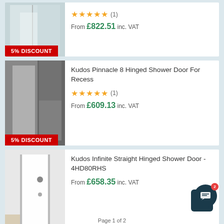[Figure (screenshot): Partial product card at top showing a shower enclosure image with 5 stars (1 review), price From £822.51 inc. VAT, and 5% DISCOUNT badge]
[Figure (screenshot): Product card for Kudos Pinnacle 8 Hinged Shower Door For Recess showing shower door image with 5 stars (1 review), price From £609.13 inc. VAT, and 5% DISCOUNT badge]
Kudos Pinnacle 8 Hinged Shower Door For Recess
From £609.13 inc. VAT
[Figure (screenshot): Product card for Kudos Infinite Straight Hinged Shower Door - 4HD80RHS showing shower door image, price From £658.35 inc. VAT, and 5% DISCOUNT badge]
Kudos Infinite Straight Hinged Shower Door - 4HD80RHS
From £658.35 inc. VAT
Page 1 of 2